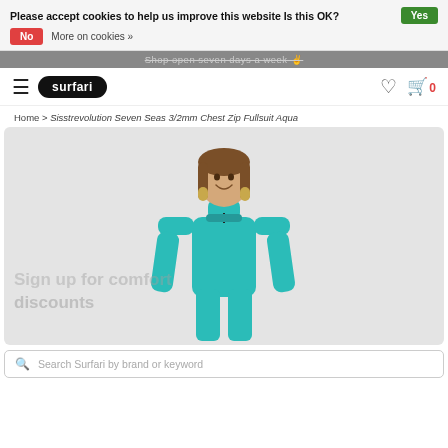Please accept cookies to help us improve this website Is this OK?  Yes  No  More on cookies »
Shop open seven days a week
[Figure (logo): Surfari logo with hamburger menu, heart and cart icons]
Home > Sisstrevolution Seven Seas 3/2mm Chest Zip Fullsuit Aqua
[Figure (photo): Woman wearing a teal/aqua Sisstrevolution Seven Seas 3/2mm Chest Zip Fullsuit, standing against a light grey background. Watermark text 'Sign up for comfort discounts' visible in lower left.]
Search Surfari by brand or keyword